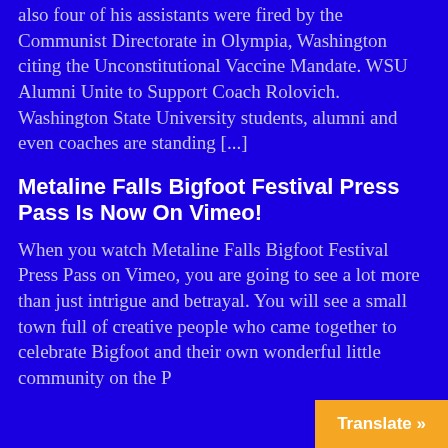also four of his assistants were fired by the Communist Directorate in Olympia, Washington citing the Unconstitutional Vaccine Mandate. WSU Alumni Unite to Support Coach Rolovich. Washington State University students, alumni and even coaches are standing [...]
Metaline Falls Bigfoot Festival Press Pass Is Now On Vimeo!
When you watch Metaline Falls Bigfoot Festival Press Pass on Vimeo, you are going to see a lot more than just intrigue and betrayal. You will see a small town full of creative people who came together to celebrate Bigfoot and their own wonderful little community on the P
Translate »